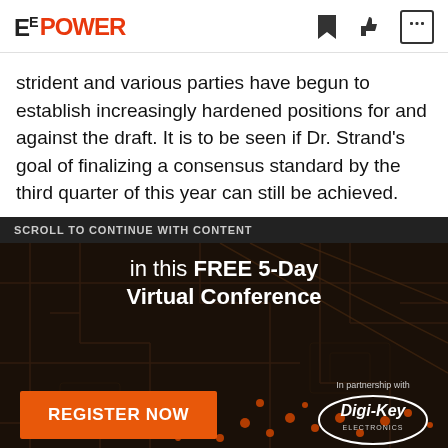EE POWER
strident and various parties have begun to establish increasingly hardened positions for and against the draft. It is to be seen if Dr. Strand's goal of finalizing a consensus standard by the third quarter of this year can still be achieved.
SCROLL TO CONTINUE WITH CONTENT
[Figure (infographic): Advertisement banner for a FREE 5-Day Virtual Conference. Dark circuit board background. Text reads 'in this FREE 5-Day Virtual Conference'. Orange REGISTER NOW button. In partnership with Digi-Key Electronics logo.]